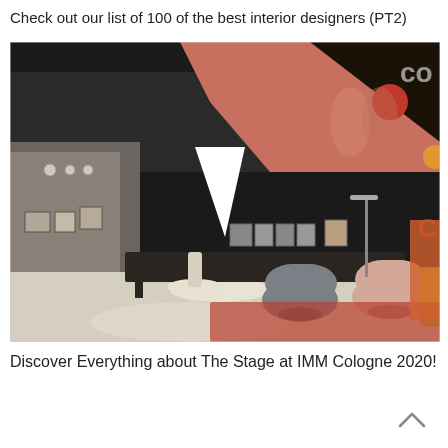Check out our list of 100 of the best interior designers (PT2)
[Figure (photo): Interior design exhibition space, likely IMM Cologne 2020 - The Stage. Dark walls with modern furniture including a white cone-shaped pendant lamp, grey and peach accent chairs, a long low sideboard, framed artwork, and colorful hanging spheres in pinkish-red ceiling area.]
Discover Everything about The Stage at IMM Cologne 2020!